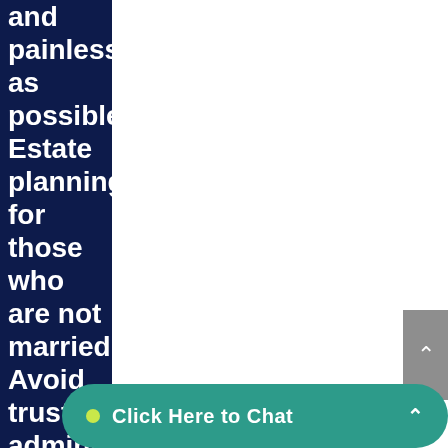and painless as possible Estate planning for those who are not married Avoid trust administration stress as a tru
[Figure (screenshot): Gray scroll-to-top button with upward arrow chevron in upper right area]
[Figure (screenshot): Teal rounded chat bar at bottom with green dot, 'Click Here to Chat' text, and upward arrow]